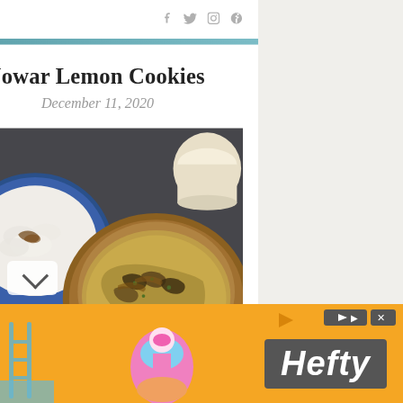≡  f  t  ☐  p
[Figure (photo): Teal decorative bar at top of article]
Jowar Lemon Cookies
December 11, 2020
[Figure (photo): Food photograph showing a blue bowl with white rice, a wooden bowl with cooked food topped with caramelized onions and herbs, and a dark bowl with a red pepper mixture, all on a dark stone surface]
[Figure (photo): Advertisement banner with orange background showing Hefty brand logo and promotional imagery]